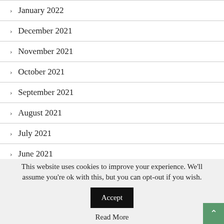> January 2022
> December 2021
> November 2021
> October 2021
> September 2021
> August 2021
> July 2021
> June 2021
This website uses cookies to improve your experience. We'll assume you're ok with this, but you can opt-out if you wish. Accept
Read More